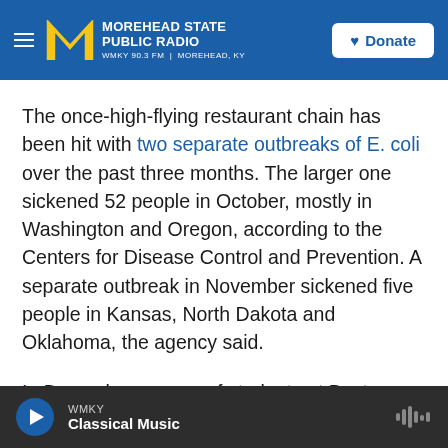Morehead State Public Radio — WMKY 90.3 FM | Morehead, KY — Donate
The once-high-flying restaurant chain has been hit with two separate outbreaks of E. coli over the past three months. The larger one sickened 52 people in October, mostly in Washington and Oregon, according to the Centers for Disease Control and Prevention. A separate outbreak in November sickened five people in Kansas, North Dakota and Oklahoma, the agency said.
In December, scores of students at Boston College fell ill after eating at a nearby Chipotle, an outbreak the company said was due to a norovirus, which
WMKY — Classical Music